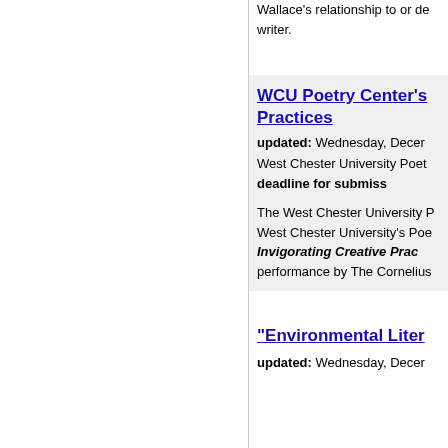Wallace's relationship to or de writer.
WCU Poetry Center's Practices
updated: Wednesday, Decer
West Chester University Poet deadline for submiss
The West Chester University P West Chester University's Poe Invigorating Creative Prac performance by The Cornelius
“Environmental Liter
updated: Wednesday, Decer